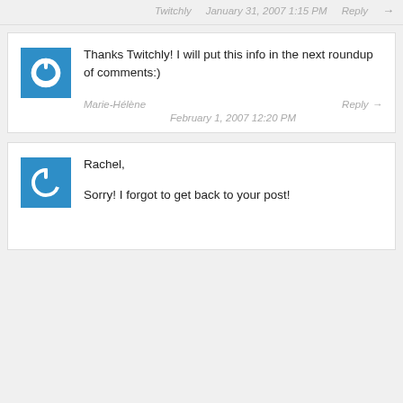Twitchly   January 31, 2007 1:15 PM   Reply →
Thanks Twitchly! I will put this info in the next roundup of comments:)
Marie-Hélène   Reply →   February 1, 2007 12:20 PM
Rachel,
Sorry! I forgot to get back to your post!